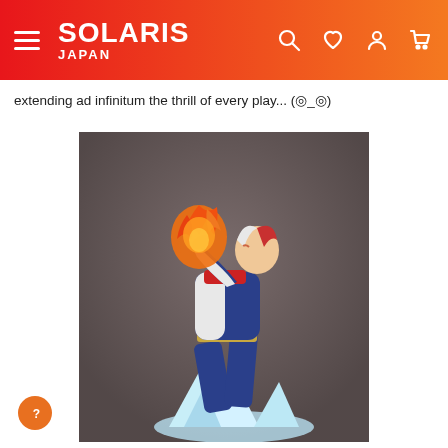SOLARIS JAPAN
extending ad infinitum the thrill of every play... (◎_◎)
[Figure (photo): Product photo of a My Hero Academia Shoto Todoroki anime figure in a dynamic action pose, wearing blue hero costume, with orange flames in his right hand and ice crystals at his feet, against a grey backdrop. Kotobukiya ARTFX J style figure.]
[Figure (other): Orange circular help button with a question mark icon in the lower left of the page.]